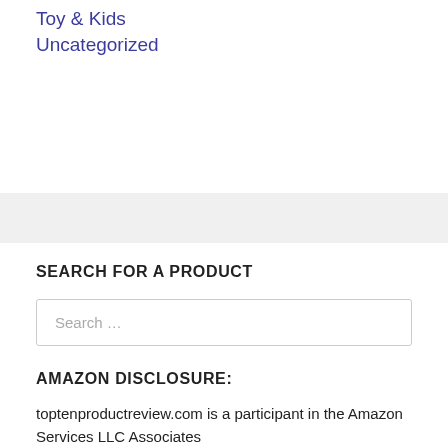Toy & Kids
Uncategorized
SEARCH FOR A PRODUCT
Search …
AMAZON DISCLOSURE:
toptenproductreview.com is a participant in the Amazon Services LLC Associates